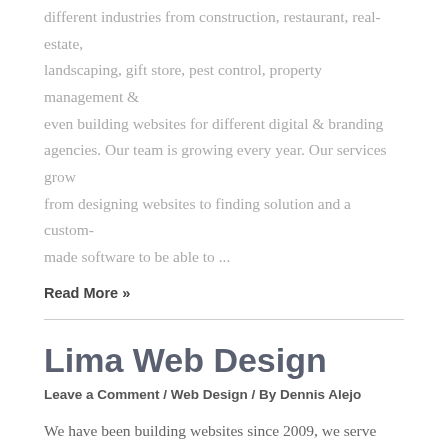different industries from construction, restaurant, real-estate, landscaping, gift store, pest control, property management & even building websites for different digital & branding agencies. Our team is growing every year. Our services grow from designing websites to finding solution and a custom-made software to be able to ...
Read More »
Lima Web Design
Leave a Comment / Web Design / By Dennis Alejo
We have been building websites since 2009, we serve different industries from construction, restaurant, real-estate, landscaping, gift store, pest control, property management & even building websites for different digital & branding